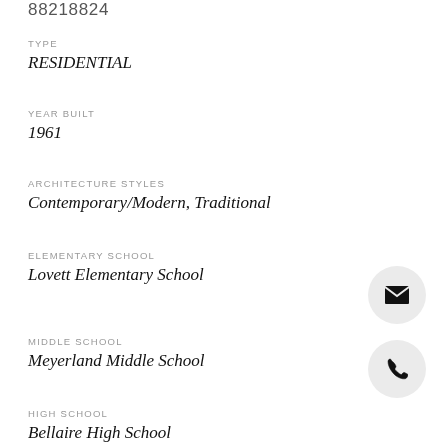88218824
TYPE
RESIDENTIAL
YEAR BUILT
1961
ARCHITECTURE STYLES
Contemporary/Modern, Traditional
ELEMENTARY SCHOOL
Lovett Elementary School
MIDDLE SCHOOL
Meyerland Middle School
HIGH SCHOOL
Bellaire High School